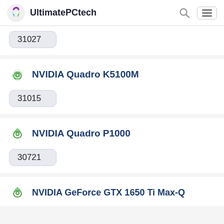UltimatePCtech
31027
NVIDIA Quadro K5100M
31015
NVIDIA Quadro P1000
30721
NVIDIA GeForce GTX 1650 Ti Max-Q